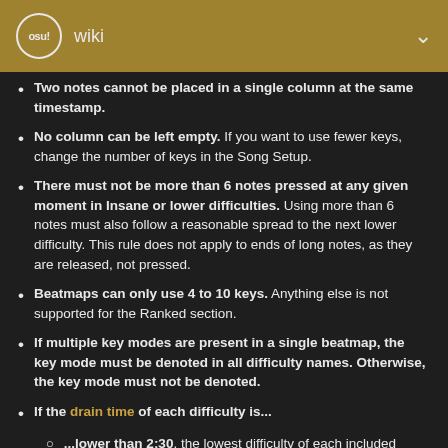osu! wiki
Two notes cannot be placed in a single column at the same timestamp.
No column can be left empty. If you want to use fewer keys, change the number of keys in the Song Setup.
There must not be more than 6 notes pressed at any given moment in Insane or lower difficulties. Using more than 6 notes must also follow a reasonable spread to the next lower difficulty. This rule does not apply to ends of long notes, as they are released, not pressed.
Beatmaps can only use 4 to 10 keys. Anything else is not supported for the Ranked section.
If multiple key modes are present in a single beatmap, the key mode must be denoted in all difficulty names. Otherwise, the key mode must not be denoted.
If the drain time of each difficulty is...
...lower than 2:30, the lowest difficulty of each included keymode cannot be harder than a Normal, OR each keymode must provide a spread starting at least 3 difficulty levels below the highest difficulty.